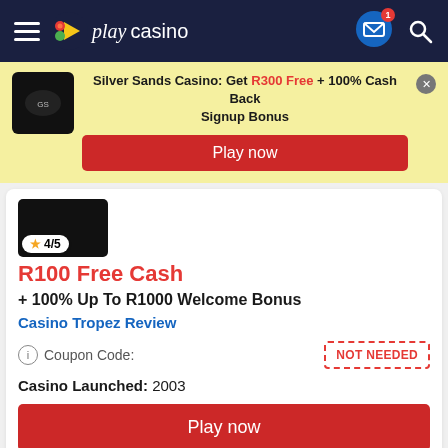playcasino navigation bar with hamburger menu, logo, mail icon (1 notification), and search icon
Silver Sands Casino: Get R300 Free + 100% Cash Back Signup Bonus
Play now
4/5
R100 Free Cash
+ 100% Up To R1000 Welcome Bonus
Casino Tropez Review
Coupon Code:  NOT NEEDED
Casino Launched:  2003
Play now